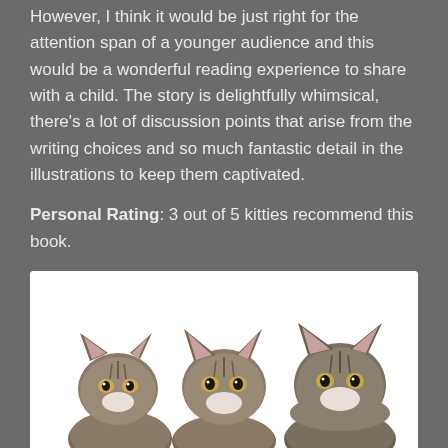However, I think it would be just right for the attention span of a younger audience and this would be a wonderful reading experience to share with a child. The story is delightfully whimsical, there's a lot of discussion points that arise from the writing choices and so much fantastic detail in the illustrations to keep them captivated.
Personal Rating: 3 out of 5 kitties recommend this book.
[Figure (photo): Three fluffy tabby kittens sitting side by side against a white background, looking at the camera.]